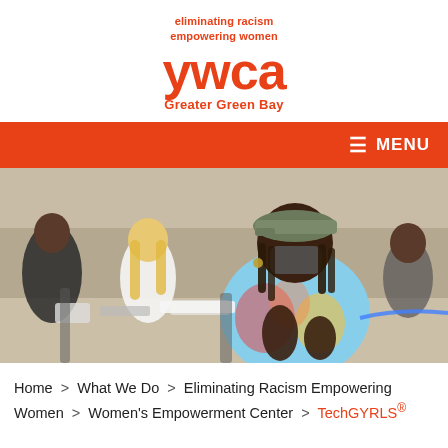[Figure (logo): YWCA Greater Green Bay logo with tagline 'eliminating racism empowering women' and location 'Greater Green Bay' in orange on white background]
≡ MENU
[Figure (photo): Photo of young people, including a girl in a tie-dye shirt wearing a cap and face mask, working on electronics at a conference table]
Home > What We Do > Eliminating Racism Empowering Women > Women's Empowerment Center > TechGYRLS®